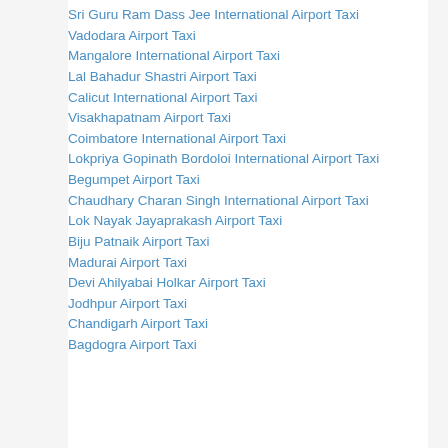Sri Guru Ram Dass Jee International Airport Taxi
Vadodara Airport Taxi
Mangalore International Airport Taxi
Lal Bahadur Shastri Airport Taxi
Calicut International Airport Taxi
Visakhapatnam Airport Taxi
Coimbatore International Airport Taxi
Lokpriya Gopinath Bordoloi International Airport Taxi
Begumpet Airport Taxi
Chaudhary Charan Singh International Airport Taxi
Lok Nayak Jayaprakash Airport Taxi
Biju Patnaik Airport Taxi
Madurai Airport Taxi
Devi Ahilyabai Holkar Airport Taxi
Jodhpur Airport Taxi
Chandigarh Airport Taxi
Bagdogra Airport Taxi